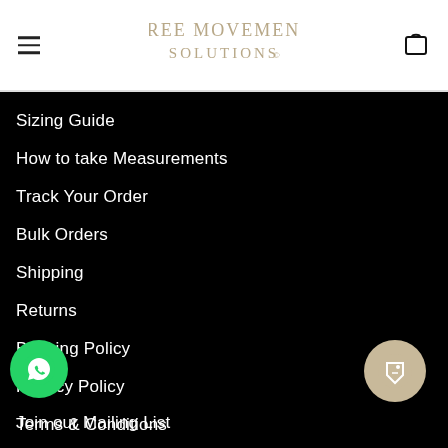[Figure (logo): Free Movement Solutions logo in tan/gold serif font with decorative lettering]
Sizing Guide
How to take Measurements
Track Your Order
Bulk Orders
Shipping
Returns
Booking Policy
Privacy Policy
Terms & Conditions
Join our Mailing List